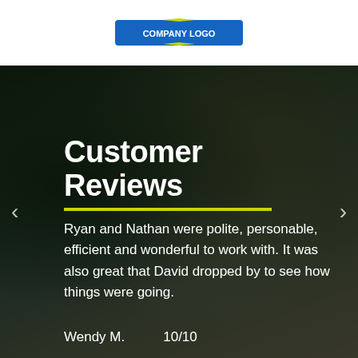[Figure (logo): Company logo banner at the top of the page, blue background with white/yellow design elements]
[Figure (photo): Background photo of two people, one wearing a dark cap with an emblem, the other with blonde hair, both smiling, outdoors with green foliage]
Customer Reviews
Ryan and Nathan were polite, personable, efficient and wonderful to work with. It was also great that David dropped by to see how things were going.
Wendy M.      10/10